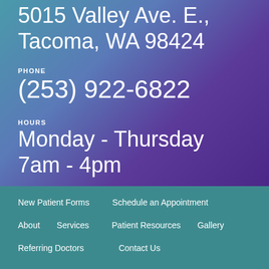5015 Valley Ave. E., Tacoma, WA 98424
PHONE
(253) 922-6822
HOURS
Monday - Thursday 7am - 4pm
New Patient Forms
Schedule an Appointment
About
Services
Patient Resources
Gallery
Referring Doctors
Contact Us